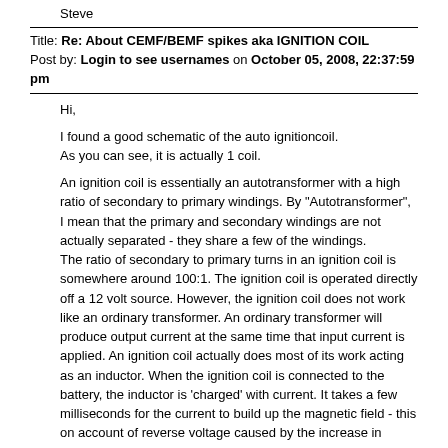Steve
Title: Re: About CEMF/BEMF spikes aka IGNITION COIL
Post by: Login to see usernames on October 05, 2008, 22:37:59 pm
Hi,

I found a good schematic of the auto ignitioncoil.
As you can see, it is actually 1 coil.

An ignition coil is essentially an autotransformer with a high ratio of secondary to primary windings. By "Autotransformer", I mean that the primary and secondary windings are not actually separated - they share a few of the windings.
The ratio of secondary to primary turns in an ignition coil is somewhere around 100:1. The ignition coil is operated directly off a 12 volt source. However, the ignition coil does not work like an ordinary transformer. An ordinary transformer will produce output current at the same time that input current is applied. An ignition coil actually does most of its work acting as an inductor. When the ignition coil is connected to the battery, the inductor is 'charged' with current. It takes a few milliseconds for the current to build up the magnetic field - this on account of reverse voltage caused by the increase in magnetic field. During this short charging period, maybe a thousand volts are produced at the high voltage terminal, not enough to actually cause a spark.